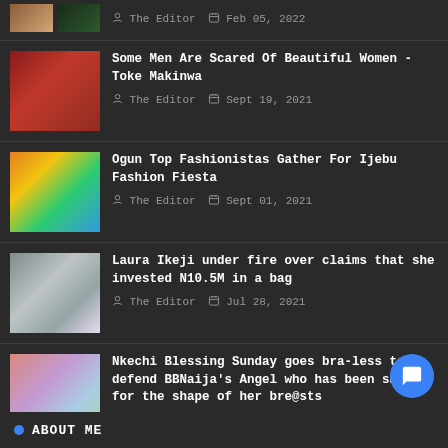The Editor  Feb 05, 2022
Some Men Are Scared Of Beautiful Women - Toke Makinwa
The Editor  Sept 19, 2021
Ogun Top Fashionistas Gather For Ijebu Fashion Fiesta
The Editor  Sept 01, 2021
Laura Ikeji under fire over claims that she invested N10.5M in a bag
The Editor  Jul 28, 2021
Nkechi Blessing Sunday goes bra-less to defend BBNaija's Angel who has been shamed for the shape of her bre@sts
The Editor  Jul 27, 2021
ABOUT ME